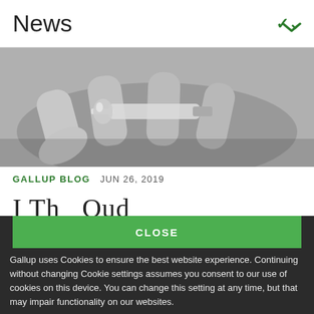News
[Figure (photo): Black and white close-up photo of a hand holding a syringe/needle with a vial]
GALLUP BLOG  JUN 26, 2019
I Th... Ou...d
CLOSE
Gallup uses Cookies to ensure the best website experience. Continuing without changing Cookie settings assumes you consent to our use of cookies on this device. You can change this setting at any time, but that may impair functionality on our websites.
Privacy Statement   Site Terms of Use and Sale
Product Terms of Use   Adjust your cookie settings.